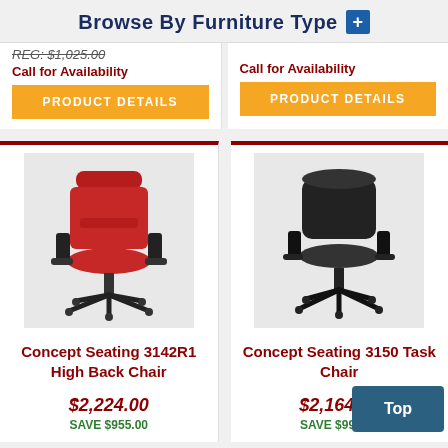Browse By Furniture Type +
REG: $1,025.00
Call for Availability
PRODUCT DETAILS
Call for Availability
PRODUCT DETAILS
[Figure (photo): Red high-back office chair with armrests and black base on casters]
Concept Seating 3142R1 High Back Chair
$2,224.00
SAVE $955.00
[Figure (photo): Black task office chair with armrests and black base on casters]
Concept Seating 3150 Task Chair
$2,164.00
SAVE $994.00